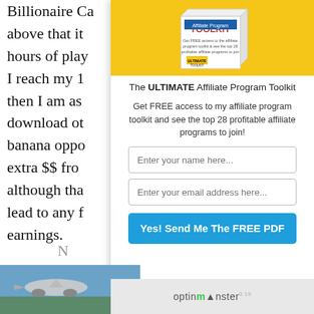Billionaire Ca... above that it... hours of play... I reach my 1... then I am as... download ot... banana oppo... extra $$ fro... although tha... lead to any f... earnings.
[Figure (photo): The ULTIMATE Affiliate Program Toolkit box with red and blue text on white box against yellow background]
The ULTIMATE Affiliate Program Toolkit
Get FREE access to my affiliate program toolkit and see the top 28 profitable affiliate programs to join!
Enter your name here...
Enter your email address here...
Yes! Send Me The FREE PDF
[Figure (photo): Airplane photo in bottom left corner]
optinmonster